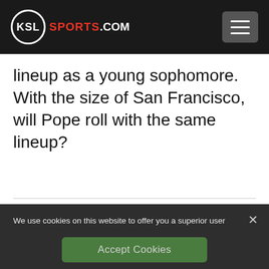KSL SPORTS.COM
lineup as a young sophomore. With the size of San Francisco, will Pope roll with the same lineup?
We use cookies on this website to offer you a superior user experience, analyze site traffic, and personalize content and advertisements. By continuing to use our site, you consent to our use of cookies. Please visit our Privacy Policy for more information.
Accept Cookies